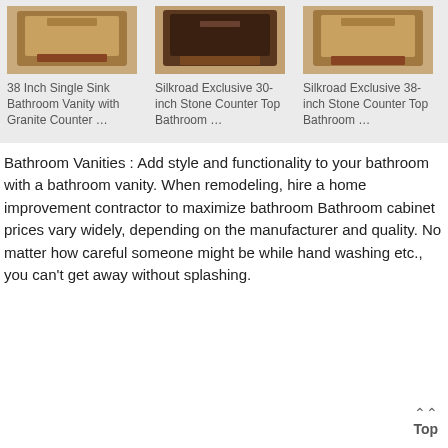[Figure (photo): Three bathroom vanity product photos shown in a grid row on a gray background]
38 Inch Single Sink Bathroom Vanity with Granite Counter …
Silkroad Exclusive 30-inch Stone Counter Top Bathroom …
Silkroad Exclusive 38-inch Stone Counter Top Bathroom …
Bathroom Vanities : Add style and functionality to your bathroom with a bathroom vanity. When remodeling, hire a home improvement contractor to maximize bathroom Bathroom cabinet prices vary widely, depending on the manufacturer and quality. No matter how careful someone might be while hand washing etc., you can't get away without splashing.